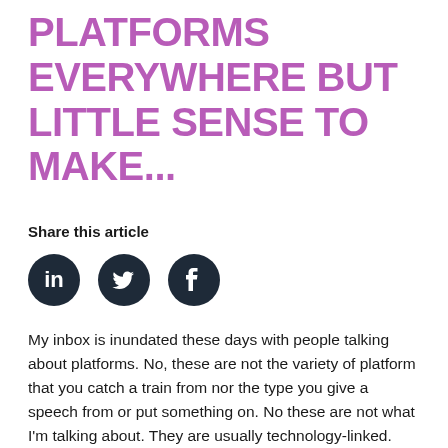PLATFORMS EVERYWHERE BUT LITTLE SENSE TO MAKE...
Share this article
[Figure (illustration): Three circular dark navy social media icons: LinkedIn, Twitter, Facebook]
My inbox is inundated these days with people talking about platforms. No, these are not the variety of platform that you catch a train from nor the type you give a speech from or put something on. No these are not what I'm talking about. They are usually technology-linked. The people in our ICT team talk about the 'digital platform', and we have invested heavily in our 'open data platform',